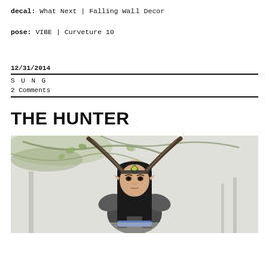decal: What Next | Falling Wall Decor
pose: VIBE | Curveture 10
12/31/2014
S U N G
2 Comments
THE HUNTER
[Figure (illustration): Fantasy character: a dark-haired elf/demon woman with large curved horns, pointed ears, ornate headdress, chainmail armor, against a misty forest background with tree branches overhead.]